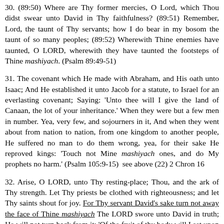30. (89:50) Where are Thy former mercies, O Lord, which Thou didst swear unto David in Thy faithfulness? (89:51) Remember, Lord, the taunt of Thy servants; how I do bear in my bosom the taunt of so many peoples; (89:52) Wherewith Thine enemies have taunted, O LORD, wherewith they have taunted the footsteps of Thine mashiyach. (Psalm 89:49-51)
31. The covenant which He made with Abraham, and His oath unto Isaac; And He established it unto Jacob for a statute, to Israel for an everlasting covenant; Saying: 'Unto thee will I give the land of Canaan, the lot of your inheritance.' When they were but a few men in number. Yea, very few, and sojourners in it, And when they went about from nation to nation, from one kingdom to another people, He suffered no man to do them wrong, yea, for their sake He reproved kings: 'Touch not Mine mashiyach ones, and do My prophets no harm.' (Psalm 105:9-15)  see above (22) 2 Chron 16
32. Arise, O LORD, unto Thy resting-place; Thou, and the ark of Thy strength. Let Thy priests be clothed with righteousness; and let Thy saints shout for joy. For Thy servant David's sake turn not away the face of Thine mashiyach The LORD swore unto David in truth; He will not turn back from it: 'Of the fruit of thy body will I set upon thy throne. If thy children keep My covenant and My testimony that I shall teach them, their children also for ever shall sit upon thy throne.' For the LORD hath chosen Zion; He hath desired it for His habitation: 'This is My resting-place for ever; here will I dwell; for I have desired it. I will abundantly bless her provision; I will give her needy bread in plenty. Her priests also will